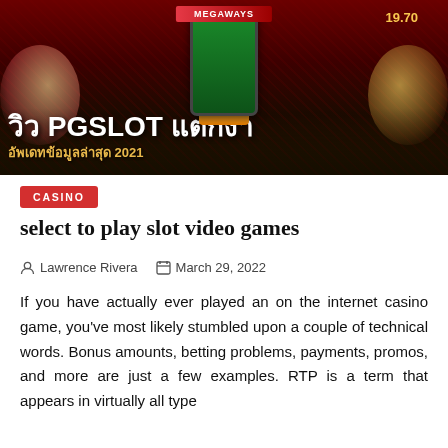[Figure (photo): Colorful casino slot game promotional banner with Thai text reading 'วิว PGSLOT แตกง่าย' and 'อัพเดทข้อมูลล่าสุด 2021', featuring animated characters and a smartphone display]
CASINO
select to play slot video games
Lawrence Rivera   March 29, 2022
If you have actually ever played an on the internet casino game, you've most likely stumbled upon a couple of technical words. Bonus amounts, betting problems, payments, promos, and more are just a few examples. RTP is a term that appears in virtually all type